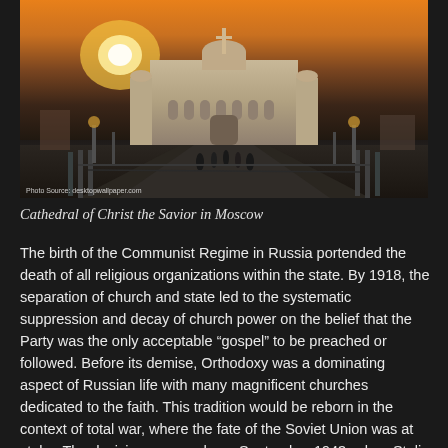[Figure (photo): Cathedral of Christ the Savior in Moscow at sunset, with bridge in foreground and people walking toward the cathedral. Orange sky with sun low on the horizon. Photo source watermark visible at bottom left.]
Cathedral of Christ the Savior in Moscow
The birth of the Communist Regime in Russia portended the death of all religious organizations within the state. By 1918, the separation of church and state led to the systematic suppression and decay of church power on the belief that the Party was the only acceptable “gospel” to be preached or followed. Before its demise, Orthodoxy was a dominating aspect of Russian life with many magnificent churches dedicated to the faith. This tradition would be reborn in the context of total war, where the fate of the Soviet Union was at stake. The decision was made on September 1943, when Stalin allowed the acting Patriarchate Metropolitan Sergei and